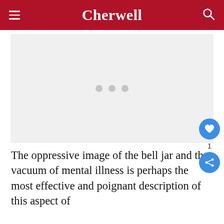Cherwell
[Figure (other): Advertisement placeholder with three grey dots centered on a light grey background]
The oppressive image of the bell jar and the vacuum of mental illness is perhaps the most effective and poignant description of this aspect of the human condition, there are reasons beyond